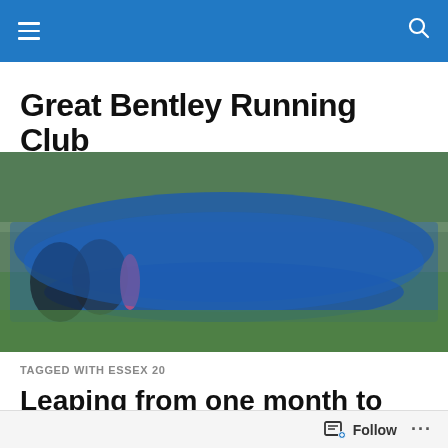Great Bentley Running Club – navigation bar
Great Bentley Running Club
[Figure (photo): A large group of runners in blue vests and running gear posing together outdoors on a grass area with trees in the background.]
TAGGED WITH ESSEX 20
Leaping from one month to the next
Follow